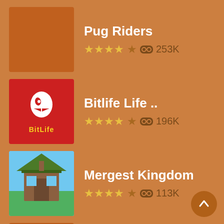Pug Riders ★★★★½ 253K
Bitlife Life .. ★★★★½ 196K
Mergest Kingdom ★★★★½ 113K
Loves Me Or Not ★★★★½ 108K
SUPPORT
Advertisers
Developers
Beta Testers